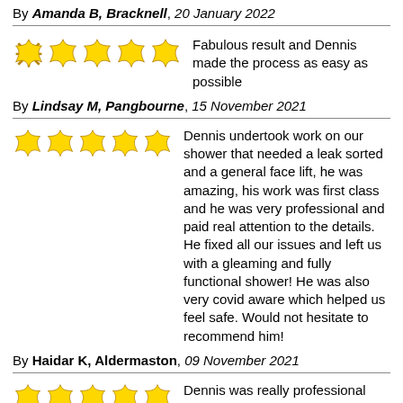By Amanda B, Bracknell, 20 January 2022
Fabulous result and Dennis made the process as easy as possible
By Lindsay M, Pangbourne, 15 November 2021
Dennis undertook work on our shower that needed a leak sorted and a general face lift, he was amazing, his work was first class and he was very professional and paid real attention to the details. He fixed all our issues and left us with a gleaming and fully functional shower! He was also very covid aware which helped us feel safe. Would not hesitate to recommend him!
By Haidar K, Aldermaston, 09 November 2021
Dennis was really professional and knowledgeable. We only had a small area of quarry tiles that needed cleaning and re-sealing but the difference is amazing. Thank you
By Mrs A, Newbury, 20 October 2021